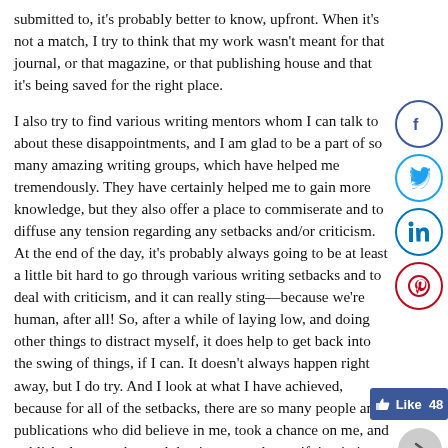submitted to, it's probably better to know, upfront. When it's not a match, I try to think that my work wasn't meant for that journal, or that magazine, or that publishing house and that it's being saved for the right place.
I also try to find various writing mentors whom I can talk to about these disappointments, and I am glad to be a part of so many amazing writing groups, which have helped me tremendously. They have certainly helped me to gain more knowledge, but they also offer a place to commiserate and to diffuse any tension regarding any setbacks and/or criticism. At the end of the day, it's probably always going to be at least a little bit hard to go through various writing setbacks and to deal with criticism, and it can really sting—because we're human, after all! So, after a while of laying low, and doing other things to distract myself, it does help to get back into the swing of things, if I can. It doesn't always happen right away, but I do try. And I look at what I have achieved, because for all of the setbacks, there are so many people and publications who did believe in me, took a chance on me, and published my work—and that is extremely gratifying in its own right!
[Figure (infographic): Social media sharing sidebar with Facebook, Twitter, LinkedIn, Pinterest buttons, a Like button showing 48 likes, and a forward arrow button.]